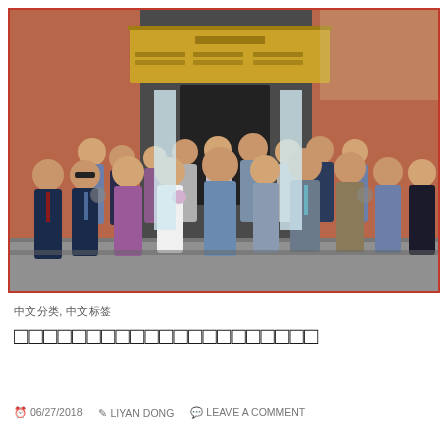[Figure (photo): Group photo of approximately 18 people standing in front of a building entrance with a gold canopy/awning bearing Chinese text signage. The building has red brick walls. People are dressed in business and semi-formal attire.]
中文分类, 中文标签
中文标题文字，关于某次访问或活动的报道
06/27/2018  LIYAN DONG  LEAVE A COMMENT